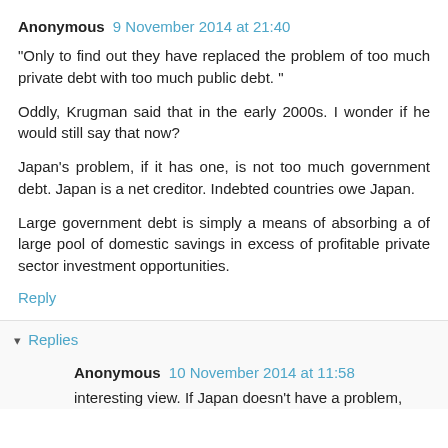Anonymous 9 November 2014 at 21:40
"Only to find out they have replaced the problem of too much private debt with too much public debt. "
Oddly, Krugman said that in the early 2000s. I wonder if he would still say that now?
Japan's problem, if it has one, is not too much government debt. Japan is a net creditor. Indebted countries owe Japan.
Large government debt is simply a means of absorbing a of large pool of domestic savings in excess of profitable private sector investment opportunities.
Reply
▾ Replies
Anonymous 10 November 2014 at 11:58
interesting view. If Japan doesn't have a problem,